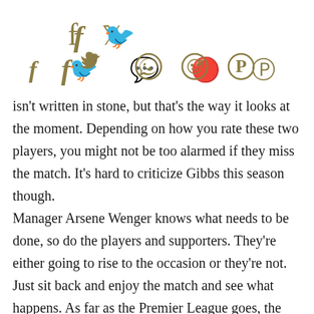[Figure (other): Social media share icons: Facebook, Twitter, WhatsApp, Reddit, Pinterest in gold/olive color]
isn't written in stone, but that's the way it looks at the moment. Depending on how you rate these two players, you might not be too alarmed if they miss the match. It's hard to criticize Gibbs this season though.
Manager Arsene Wenger knows what needs to be done, so do the players and supporters. They're either going to rise to the occasion or they're not. Just sit back and enjoy the match and see what happens. As far as the Premier League goes, the Gunners were thrown a bone on Sunday when Spurs self destructed in their match against Liverpool at Anfield. After taking a 2-1 lead, brutal plays by Kyle Walker and Jermain Defoe led to their downfall in a 3-2 loss.
Spurs were gunning for Manchester City and second